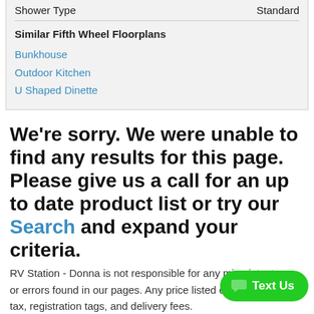| Shower Type | Standard |
Similar Fifth Wheel Floorplans
Bunkhouse
Outdoor Kitchen
U Shaped Dinette
We're sorry. We were unable to find any results for this page. Please give us a call for an up to date product list or try our Search and expand your criteria.
RV Station - Donna is not responsible for any misprints, typos, or errors found in our pages. Any price listed excludes sales tax, registration tags, and delivery fees.